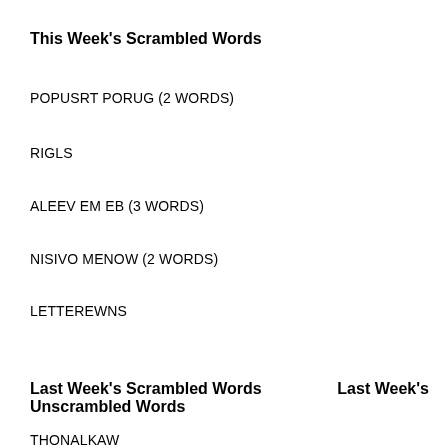This Week's Scrambled Words
POPUSRT PORUG (2 WORDS)
RIGLS
ALEEV EM EB (3 WORDS)
NISIVO MENOW (2 WORDS)
LETTEREWNS
Last Week's Scrambled Words Last Week's Unscrambled Words
THONALKAW